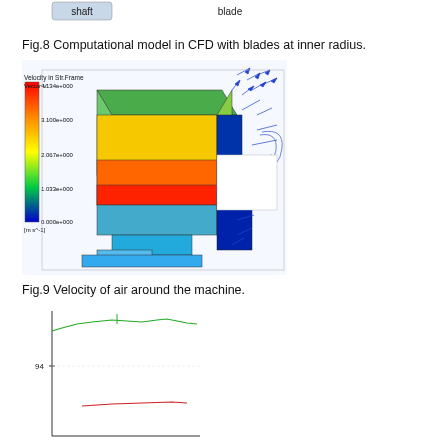[Figure (schematic): Top strip showing shaft and blade labels with diagram fragments at top of page]
Fig.8 Computational model in CFD with blades at inner radius.
[Figure (engineering-diagram): CFD velocity vector field visualization showing velocity in Str.Frame Vector V with a color scale from 0.000e+000 to 4.134e+000 (m s^-1), showing air flow patterns around a rotating machine geometry with 3D colored contours and blue velocity vectors]
Fig.9 Velocity of air around the machine.
[Figure (line-chart): Partial line chart at bottom of page showing green and red lines, y-axis label 94 visible, partial view cropped]